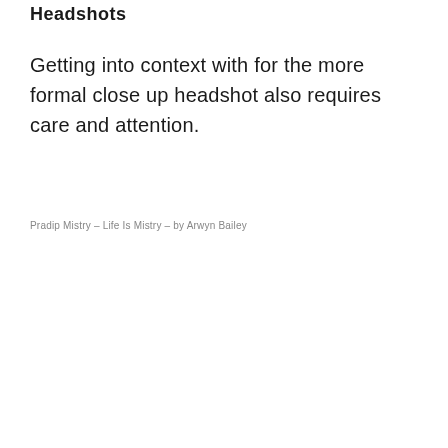Headshots
Getting into context with for the more formal close up headshot also requires care and attention.
Pradip Mistry – Life Is Mistry – by Arwyn Bailey